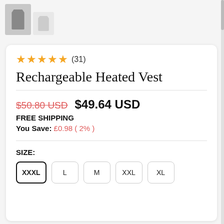[Figure (photo): Two small product thumbnail images of a heated vest]
★★★★★ (31)
Rechargeable Heated Vest
$50.80 USD  $49.64 USD
FREE SHIPPING
You Save: £0.98 ( 2% )
SIZE:
XXXL  L  M  XXL  XL